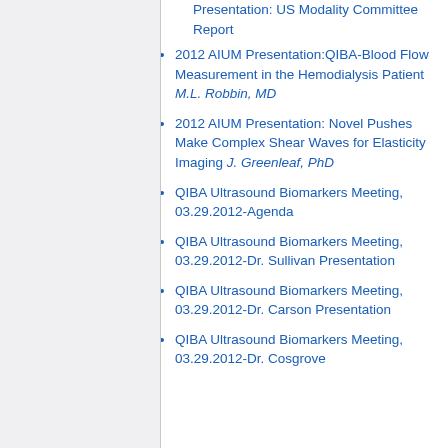Presentation: US Modality Committee Report
2012 AIUM Presentation:QIBA-Blood Flow Measurement in the Hemodialysis Patient M.L. Robbin, MD
2012 AIUM Presentation: Novel Pushes Make Complex Shear Waves for Elasticity Imaging J. Greenleaf, PhD
QIBA Ultrasound Biomarkers Meeting, 03.29.2012-Agenda
QIBA Ultrasound Biomarkers Meeting, 03.29.2012-Dr. Sullivan Presentation
QIBA Ultrasound Biomarkers Meeting, 03.29.2012-Dr. Carson Presentation
QIBA Ultrasound Biomarkers Meeting, 03.29.2012-Dr. Cosgrove